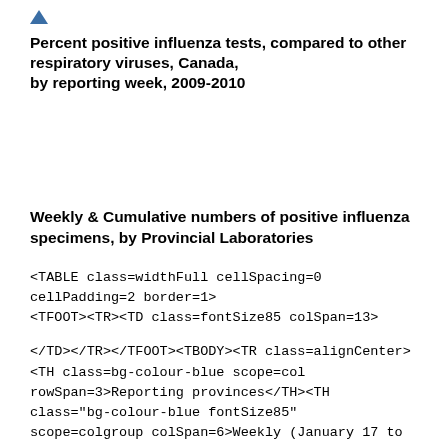[Figure (other): Small upward-pointing triangle/arrow icon in steel blue color]
Percent positive influenza tests, compared to other respiratory viruses, Canada, by reporting week, 2009-2010
Weekly & Cumulative numbers of positive influenza specimens, by Provincial Laboratories
<TABLE class=widthFull cellSpacing=0 cellPadding=2 border=1>
<TFOOT><TR><TD class=fontSize85 colSpan=13>


</TD></TR></TFOOT><TBODY><TR class=alignCenter><TH class=bg-colour-blue scope=col rowSpan=3>Reporting provinces</TH><TH class="bg-colour-blue fontSize85" scope=colgroup colSpan=6>Weekly (January 17 to January 23, 2010)</TH><TH class="bg-colour-blue fontSize85" scope=colgroup colSpan=6>Cumulative (August 30, 2009 to January 23, 2010)</TH></TR><TR class=alignCenter><TH class="bg-colour-blue fontSize85" scope=colgroup colSpan=5>Influenza A</TH><TH class="bg-colour-blue fontSize85" scope=col>B</TH><TH class="bg-colour-blue fontSize85" scope=colgroup colSpan=5>Influenza A</TH><TH class=bg-colour-blue scope=col>B</TH></TR><TR class=alignCenter><TH class="fontSize85 bg-colour-blue"